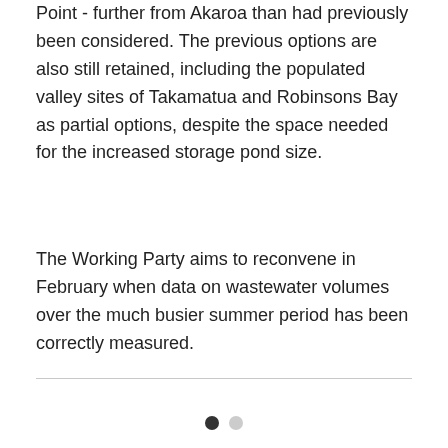Point - further from Akaroa than had previously been considered. The previous options are also still retained, including the populated valley sites of Takamatua and Robinsons Bay as partial options, despite the space needed for the increased storage pond size.
The Working Party aims to reconvene in February when data on wastewater volumes over the much busier summer period has been correctly measured.